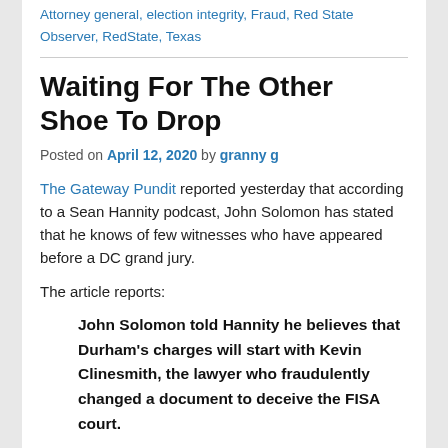Attorney general, election integrity, Fraud, Red State Observer, RedState, Texas
Waiting For The Other Shoe To Drop
Posted on April 12, 2020 by granny g
The Gateway Pundit reported yesterday that according to a Sean Hannity podcast, John Solomon has stated that he knows of few witnesses who have appeared before a DC grand jury.
The article reports:
John Solomon told Hannity he believes that Durham's charges will start with Kevin Clinesmith, the lawyer who fraudulently changed a document to deceive the FISA court.